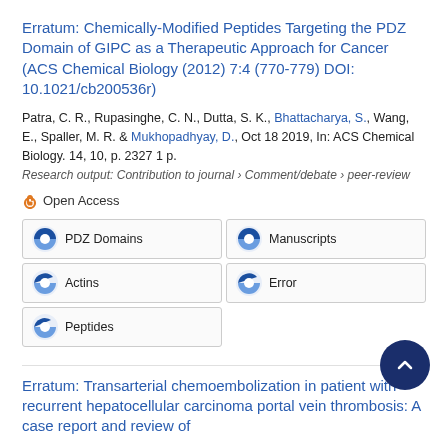Erratum: Chemically-Modified Peptides Targeting the PDZ Domain of GIPC as a Therapeutic Approach for Cancer (ACS Chemical Biology (2012) 7:4 (770-779) DOI: 10.1021/cb200536r)
Patra, C. R., Rupasinghe, C. N., Dutta, S. K., Bhattacharya, S., Wang, E., Spaller, M. R. & Mukhopadhyay, D., Oct 18 2019, In: ACS Chemical Biology. 14, 10, p. 2327 1 p.
Research output: Contribution to journal › Comment/debate › peer-review
Open Access
PDZ Domains
Manuscripts
Actins
Error
Peptides
Erratum: Transarterial chemoembolization in patient with recurrent hepatocellular carcinoma portal vein thrombosis: A case report and review of